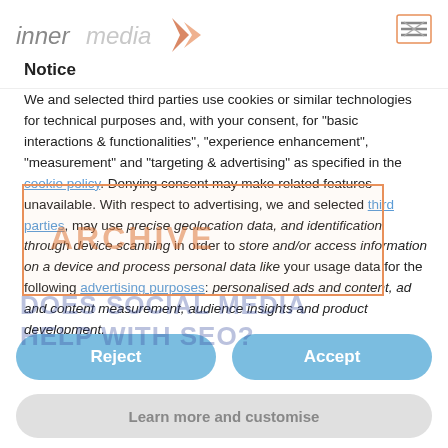innermedia (logo) — Notice
We and selected third parties use cookies or similar technologies for technical purposes and, with your consent, for “basic interactions & functionalities”, “experience enhancement”, “measurement” and “targeting & advertising” as specified in the cookie policy. Denying consent may make related features unavailable. With respect to advertising, we and selected third parties, may use precise geolocation data, and identification through device scanning in order to store and/or access information on a device and process personal data like your usage data for the following advertising purposes: personalised ads and content, ad and content measurement, audience insights and product development.
Reject
Accept
Learn more and customise